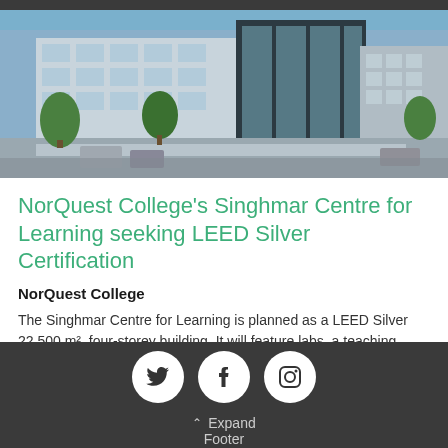[Figure (photo): Architectural rendering of NorQuest College's Singhmar Centre for Learning — a modern multi-storey glass-and-concrete building with trees and pedestrians on the street]
NorQuest College's Singhmar Centre for Learning seeking LEED Silver Certification
NorQuest College
The Singhmar Centre for Learning is planned as a LEED Silver 22,500 m², four-storey building. It will feature labs, a teaching
Expand Footer (social icons: Twitter, Facebook, Instagram)